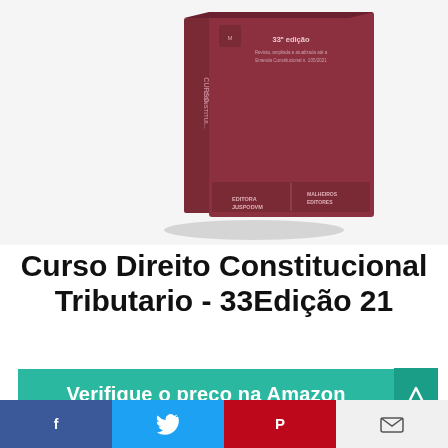[Figure (photo): Book cover of Curso Direito Constitucional Tributario 33rd edition, dark red hardcover with publisher logos]
Curso Direito Constitucional Tributario - 33Edição 21
Verifique o preço na Amazon
Amazon.com.br
[Figure (infographic): Social media share bar with Facebook, Twitter, Pinterest, and email icons]